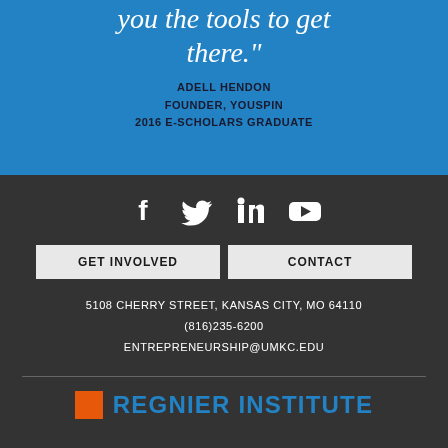you the tools to get there."
ADELL HENDON
FOUNDER, YOUSPIN
2016 E-SCHOLARS GRADUATE
[Figure (infographic): Social media icons: Facebook, Twitter, LinkedIn, YouTube in white on dark background]
GET INVOLVED   CONTACT
5108 CHERRY STREET, KANSAS CITY, MO 64110
(816)235-6200
ENTREPRENEURSHIP@UMKC.EDU
[Figure (logo): Regnier Institute logo with orange square and blue text]